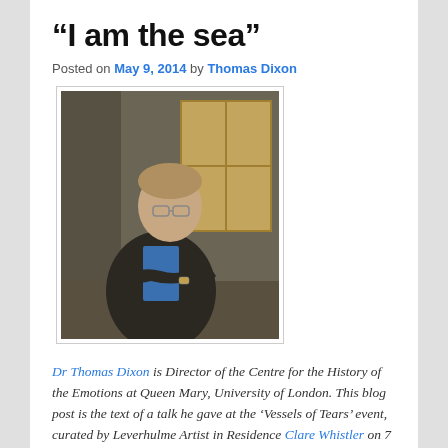“I am the sea”
Posted on May 9, 2014 by Thomas Dixon
[Figure (photo): Portrait photo of Thomas Dixon, a man in a dark blazer and blue shirt, leaning against a wall with crossed arms, wearing glasses, with a window visible in the background.]
Dr Thomas Dixon is Director of the Centre for the History of the Emotions at Queen Mary, University of London. This blog post is the text of a talk he gave at the ‘Vessels of Tears’ event, curated by Leverhulme Artist in Residence Clare Whistler on 7 May 2014. He has previously presented a BBC Radio 3 feature on the cultural history of weeping.